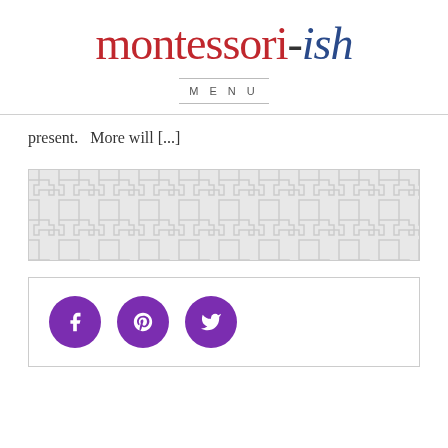montessori-ish
MENU
present.  More will [...]
[Figure (other): Advertisement placeholder with Greek key pattern background]
[Figure (other): Social media icons: Facebook, Pinterest, Twitter (purple circles)]